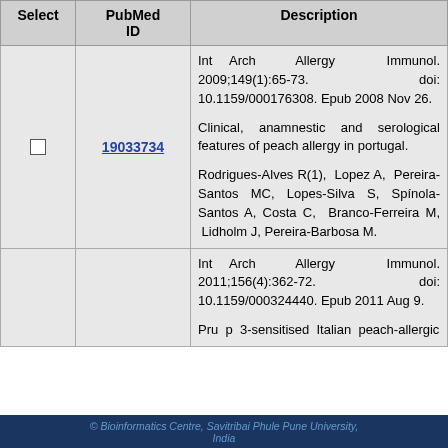| Select | PubMed ID | Description |
| --- | --- | --- |
| ☐ | 19033734 | Int Arch Allergy Immunol. 2009;149(1):65-73. doi: 10.1159/000176308. Epub 2008 Nov 26.

Clinical, anamnestic and serological features of peach allergy in portugal.

Rodrigues-Alves R(1), Lopez A, Pereira-Santos MC, Lopes-Silva S, Spínola-Santos A, Costa C, Branco-Ferreira M, Lidholm J, Pereira-Barbosa M. |
|  |  | Int Arch Allergy Immunol. 2011;156(4):362-72. doi: 10.1159/000324440. Epub 2011 Aug 9.

Pru p 3-sensitised Italian peach-allergic |
© Bioinformatics Centre, Savitribai Phule Pune University, India